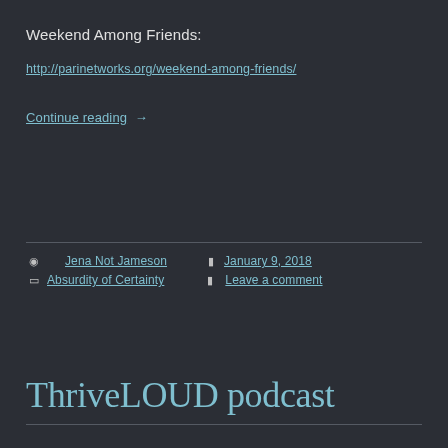Weekend Among Friends:
http://parinetworks.org/weekend-among-friends/
Continue reading →
Post author: Jena Not Jameson  Date: January 9, 2018  Categories: Absurdity of Certainty  Comments: Leave a comment
ThriveLOUD podcast